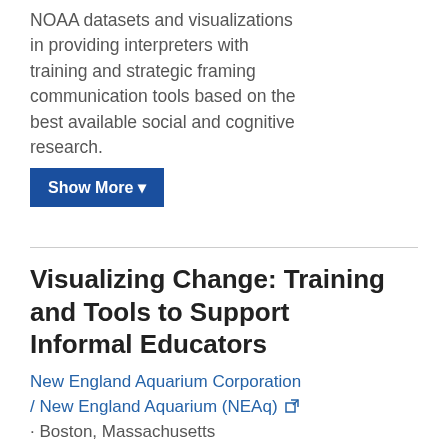NOAA datasets and visualizations in providing interpreters with training and strategic framing communication tools based on the best available social and cognitive research.
Show More ▼
Visualizing Change: Training and Tools to Support Informal Educators
New England Aquarium Corporation / New England Aquarium (NEAq) · Boston, Massachusetts